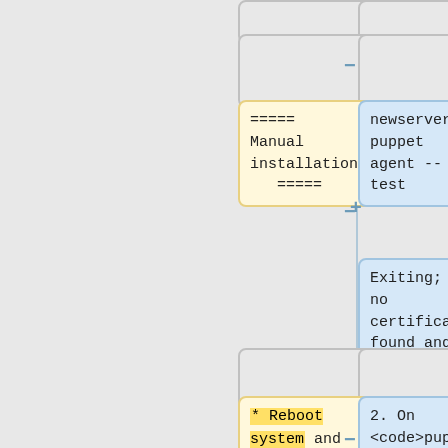[Figure (flowchart): Flowchart showing two parallel columns: left column has yellow boxes with wiki-style markup / instructions (Manual installation, Reboot system and boot from network / PXE boot), right column has blue boxes with command outputs (newserver# puppet agent --test, Exiting; no certificate found and waitforcert is disabled, 2. On <code>puppet master</code> list all pending certificate). Columns are connected by plus/minus symbols on a vertical line.]